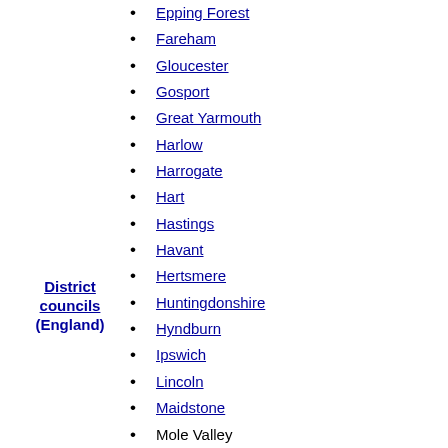Epping Forest
Fareham
Gloucester
Gosport
Great Yarmouth
Harlow
Harrogate
Hart
Hastings
Havant
Hertsmere
Huntingdonshire
Hyndburn
Ipswich
Lincoln
Maidstone
Mole Valley
Newcastle-under-Lyme
North Hertfordshire
Nuneaton and Bedworth
Oxford
Pendle
Preston
Purbeck
Redditch
District councils (England)